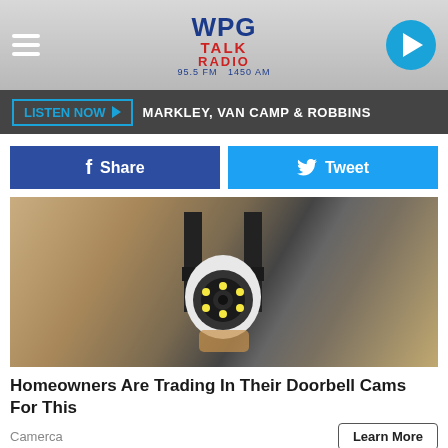WPG Talk Radio 95.5 FM 1450 AM
LISTEN NOW  MARKLEY, VAN CAMP & ROBBINS
Share  Tweet
[Figure (photo): A person's hand holding and installing a white security camera on a textured stucco wall, with a black metal mounting bracket visible.]
Homeowners Are Trading In Their Doorbell Cams For This
Camerca
Learn More
[Figure (infographic): Walgreens Photo advertisement: Try a New Support, Walgreens Photo, with Walgreens cursive W logo and a blue diamond navigation arrow icon.]